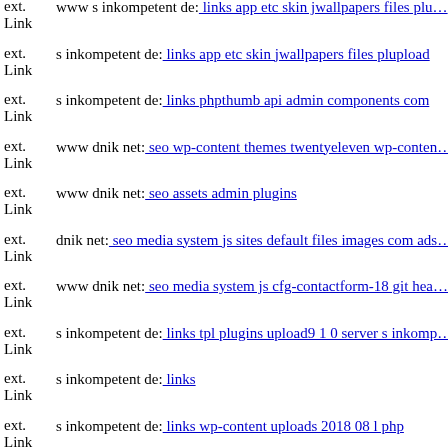ext. Link www s inkompetent de: links app etc skin jwallpapers files plupload
ext. Link s inkompetent de: links app etc skin jwallpapers files plupload
ext. Link s inkompetent de: links phpthumb api admin components com
ext. Link www dnik net: seo wp-content themes twentyeleven wp-content
ext. Link www dnik net: seo assets admin plugins
ext. Link dnik net: seo media system js sites default files images com ads
ext. Link www dnik net: seo media system js cfg-contactform-18 git head
ext. Link s inkompetent de: links tpl plugins upload9 1 0 server s inkomp
ext. Link s inkompetent de: links
ext. Link s inkompetent de: links wp-content uploads 2018 08 l php
ext. Link Warum sollten Sie immer nur bei eBay (TM) landen?
ext. Link mail inkompetent de: links media system changelog txt